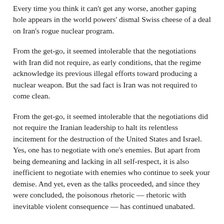Every time you think it can't get any worse, another gaping hole appears in the world powers' dismal Swiss cheese of a deal on Iran's rogue nuclear program.
From the get-go, it seemed intolerable that the negotiations with Iran did not require, as early conditions, that the regime acknowledge its previous illegal efforts toward producing a nuclear weapon. But the sad fact is Iran was not required to come clean.
From the get-go, it seemed intolerable that the negotiations did not require the Iranian leadership to halt its relentless incitement for the destruction of the United States and Israel. Yes, one has to negotiate with one's enemies. But apart from being demeaning and lacking in all self-respect, it is also inefficient to negotiate with enemies who continue to seek your demise. And yet, even as the talks proceeded, and since they were concluded, the poisonous rhetoric — rhetoric with inevitable violent consequence — has continued unabated.
From the get-go, it seemed intolerable that the negotiations did not demand that Iran...